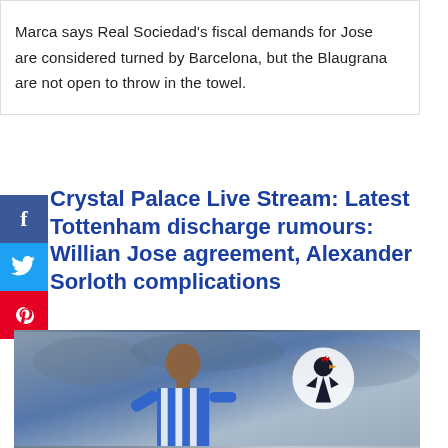Marca says Real Sociedad's fiscal demands for Jose are considered turned by Barcelona, but the Blaugrana are not open to throw in the towel.
Crystal Palace Live Stream: Latest Tottenham discharge rumours: Willian Jose agreement, Alexander Sorloth complications
[Figure (photo): Football player in blue and white striped jersey celebrating, with Tottenham Hotspur cockerel badge visible on right side, blurred crowd background]